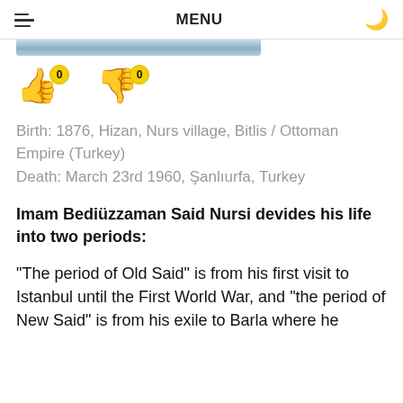MENU
[Figure (photo): Partial photo visible at top of page, cropped]
[Figure (infographic): Thumbs up emoji with yellow badge showing '0', thumbs down emoji with yellow badge showing '0']
Birth: 1876, Hizan, Nurs village, Bitlis / Ottoman Empire (Turkey)
Death: March 23rd 1960, Şanlıurfa, Turkey
Imam Bediüzzaman Said Nursi devides his life into two periods:
“The period of Old Said” is from his first visit to Istanbul until the First World War, and “the period of New Said” is from his exile to Barla where he